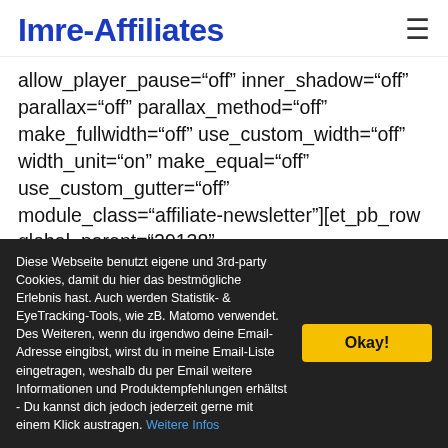Imre-Affiliates
allow_player_pause="off" inner_shadow="off" parallax="off" parallax_method="off" make_fullwidth="off" use_custom_width="off" width_unit="on" make_equal="off" use_custom_gutter="off" module_class="affiliate-newsletter"][et_pb_row global_parent="29138" admin_label="row"][et_pb_column type="4_4"] [et_pb_text global_parent="29138" admin_label="Text: Title: Affiliate-Newsletter" background_layout="dark" text_orientation="center" use_border_color="off" border_color="#ffffff"
Diese Webseite benutzt eigene und 3rd-party Cookies, damit du hier das bestmögliche Erlebnis hast. Auch werden Statistik- & EyeTracking-Tools, wie zB. Matomo verwendet. Des Weiteren, wenn du irgendwo deine Email-Adresse eingibst, wirst du in meine Email-Liste eingetragen, weshalb du per Email weitere Informationen und Produktempfehlungen erhältst - Du kannst dich jedoch jederzeit gerne mit einem Klick austragen. Weitere Infos